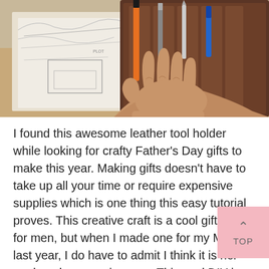[Figure (photo): A person's hand resting on a brown leather tool roll/holder containing various tools including an orange IRWIN pen/marker, a blue-tipped tool, and a utility knife. In the background there are papers with sewing/craft patterns.]
I found this awesome leather tool holder while looking for crafty Father's Day gifts to make this year. Making gifts doesn't have to take up all your time or require expensive supplies which is one thing this easy tutorial proves. This creative craft is a cool gift idea for men, but when I made one for my Mom last year, I do have to admit I think it is her most loved possession now. This cool DIY is also a top seller on Etsy, so if you want to make some extra